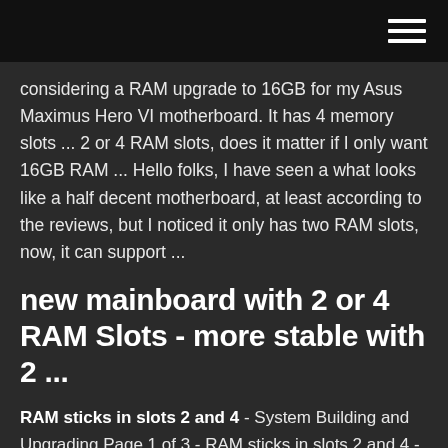considering a RAM upgrade to 16GB for my Asus Maximus Hero VI motherboard. It has 4 memory slots ... 2 or 4 RAM slots, does it matter if I only want 16GB RAM ... Hello folks, I have seen a what looks like a half decent motherboard, at least according to the reviews, but I noticed it only has two RAM slots, now, it can support ...
new mainboard with 2 or 4 RAM Slots - more stable with 2 ...
RAM sticks in slots 2 and 4 - System Building and Upgrading Page 1 of 3 - RAM sticks in slots 2 and 4 - posted in System Building and Upgrading: I have a 4GB RAM DDRIII stick in slots 1 and a second one in slot3 (reading left to